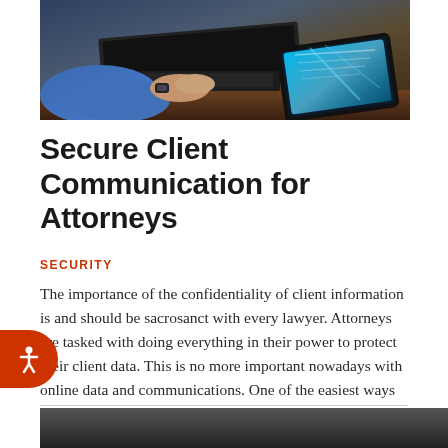[Figure (photo): Person in blue suit sleeve typing on laptop with glowing digital tablet on desk]
Secure Client Communication for Attorneys
SECURITY
The importance of the confidentiality of client information is and should be sacrosanct with every lawyer. Attorneys are tasked with doing everything in their power to protect their client data. This is no more important nowadays with online data and communications. One of the easiest ways for someone to breach client confidentiality is to attack…